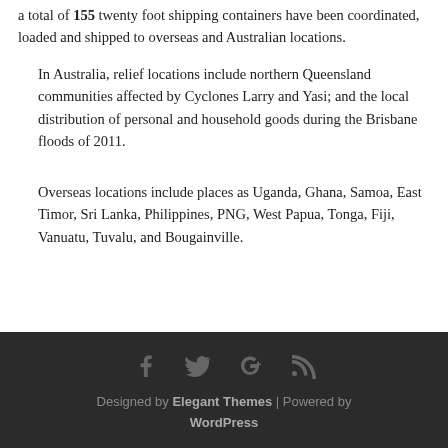a total of 155 twenty foot shipping containers have been coordinated, loaded and shipped to overseas and Australian locations.
In Australia, relief locations include northern Queensland communities affected by Cyclones Larry and Yasi; and the local distribution of personal and household goods during the Brisbane floods of 2011.
Overseas locations include places as Uganda, Ghana, Samoa, East Timor, Sri Lanka, Philippines, PNG, West Papua, Tonga, Fiji, Vanuatu, Tuvalu, and Bougainville.
Designed by Elegant Themes | Powered by WordPress